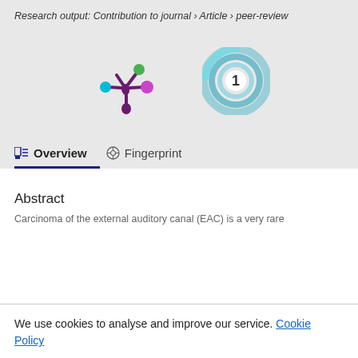Research output: Contribution to journal › Article › peer-review
[Figure (logo): Altmetric logo: purple star-like network with colored dots (cyan, green, magenta)]
[Figure (logo): Citation count badge: teal/blue swirling circle with number 1 in center]
Overview | Fingerprint (navigation tabs)
Abstract
Carcinoma of the external auditory canal (EAC) is a very rare
We use cookies to analyse and improve our service. Cookie Policy